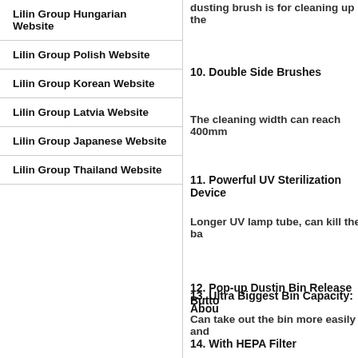Lilin Group Hungarian Website
Lilin Group Polish Website
Lilin Group Korean Website
Lilin Group Latvia Website
Lilin Group Japanese Website
Lilin Group Thailand Website
dusting brush is for cleaning up the
10. Double Side Brushes
The cleaning width can reach 400mm
11. Powerful UV Sterilization Device
Longer UV lamp tube, can kill the ba
12. Pop-up Dustin Bin Release Butto
Can take out the bin more easily and
13. Ultra Biggest Bin Capacity: Abou
14. With HEPA Filter